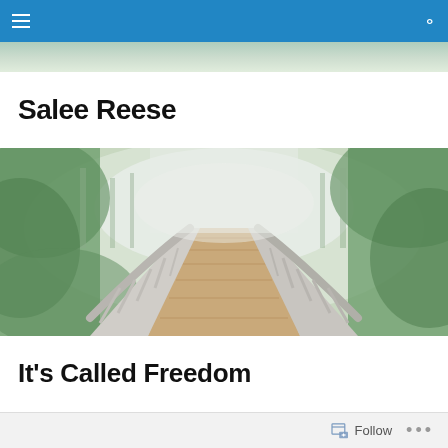Navigation bar with menu and search icons
Salee Reese
[Figure (photo): A wooden footbridge with white railings extending into a foggy, green landscape with trees on both sides.]
It’s Called Freedom
Follow ...